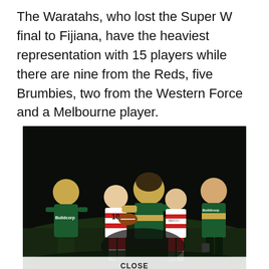The Waratahs, who lost the Super W final to Fijiana, have the heaviest representation with 15 players while there are nine from the Reds, five Brumbies, two from the Western Force and a Melbourne player.
[Figure (photo): Women's rugby match at night: Australian players in green/gold jerseys (with Buildcorp sponsor) tackling players in white/red striped jerseys (Japan). Player wearing number 10 jersey visible. Action tackle scene on a floodlit pitch.]